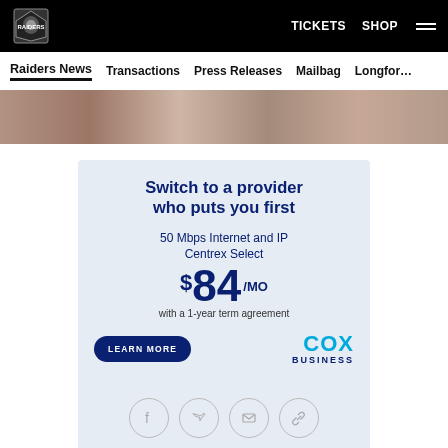Raiders logo | TICKETS | SHOP
Raiders News | Transactions | Press Releases | Mailbag | Longform
[Figure (photo): Partial image strip showing players in dark uniforms]
[Figure (infographic): Cox Business advertisement: Switch to a provider who puts you first. 50 Mbps Internet and IP Centrex Select $84/MO with a 1-year term agreement. LEARN MORE button. Cox Business logo.]
Switch to a provider who puts you first
50 Mbps Internet and IP Centrex Select
$84/MO
with a 1-year term agreement
LEARN MORE
COX BUSINESS